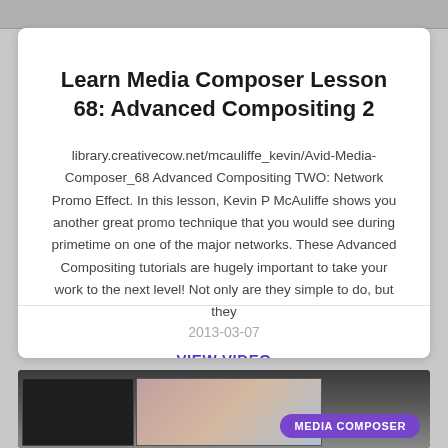[Figure (screenshot): Top browser/application bar (gray toolbar strip)]
Learn Media Composer Lesson 68: Advanced Compositing 2
library.creativecow.net/mcauliffe_kevin/Avid-Media-Composer_68 Advanced Compositing TWO: Network Promo Effect. In this lesson, Kevin P McAuliffe shows you another great promo technique that you would see during primetime on one of the major networks. These Advanced Compositing tutorials are hugely important to take your work to the next level! Not only are they simple to do, but they
VIEW VIDEO
2013-03-07
[Figure (screenshot): Bottom screenshot of Avid Media Composer application interface with a purple 'MEDIA COMPOSER' badge in the lower right.]